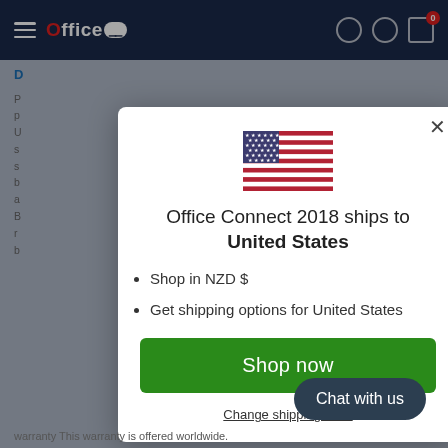[Figure (screenshot): Navigation bar with Office Connect logo on dark navy background with hamburger menu, search icon, user icon, and cart with badge showing 0]
[Figure (screenshot): Modal dialog showing US flag, shipping destination message, bullet list of shop options, green Shop now button, and change shipping country link. Also shows Chat with us button overlay.]
Office Connect 2018 ships to United States
Shop in NZD $
Get shipping options for United States
Shop now
Change shipping country
Chat with us
warranty This warranty is offered worldwide.